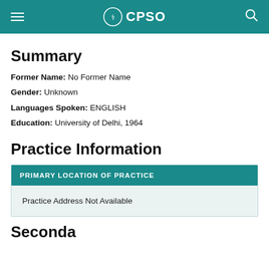CPSO
Summary
Former Name: No Former Name
Gender: Unknown
Languages Spoken: ENGLISH
Education: University of Delhi, 1964
Practice Information
| PRIMARY LOCATION OF PRACTICE |
| --- |
| Practice Address Not Available |
Secondary...